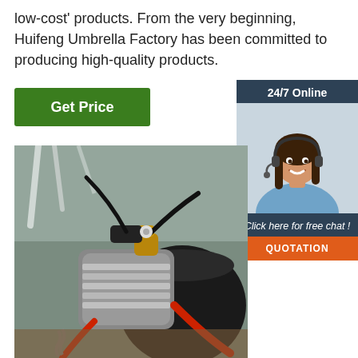low-cost' products. From the very beginning, Huifeng Umbrella Factory has been committed to producing high-quality products.
Get Price
24/7 Online
[Figure (photo): Woman with headset smiling, customer service representative]
Click here for free chat !
QUOTATION
[Figure (photo): Close-up photo of an air compressor or motor with hoses and wiring]